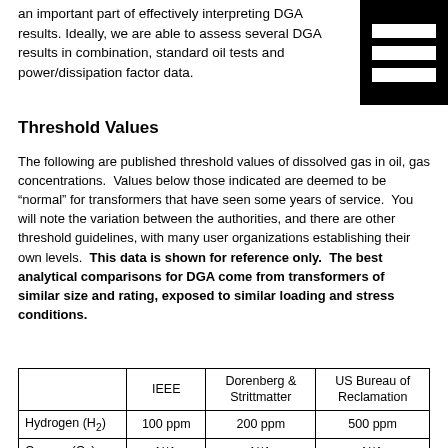an important part of effectively interpreting DGA results. Ideally, we are able to assess several DGA results in combination, standard oil tests and power/dissipation factor data.
[Figure (logo): Black rectangle logo with three white horizontal bars (hamburger/list icon style)]
Threshold Values
The following are published threshold values of dissolved gas in oil, gas concentrations. Values below those indicated are deemed to be “normal” for transformers that have seen some years of service. You will note the variation between the authorities, and there are other threshold guidelines, with many user organizations establishing their own levels. This data is shown for reference only. The best analytical comparisons for DGA come from transformers of similar size and rating, exposed to similar loading and stress conditions.
|  | IEEE | Dorenberg & Strittmatter | US Bureau of Reclamation |
| --- | --- | --- | --- |
| Hydrogen (H₂) | 100 ppm | 200 ppm | 500 ppm |
| Oxygen (O₂) | N/A | N/A | N/A |